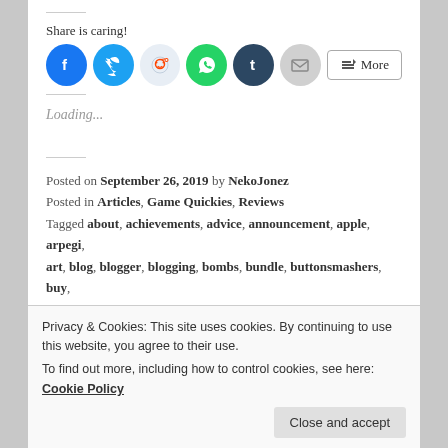Share is caring!
[Figure (infographic): Social sharing buttons: Facebook, Twitter, Reddit, WhatsApp, Tumblr, Email, and More]
Loading...
Posted on September 26, 2019 by NekoJonez
Posted in Articles, Game Quickies, Reviews
Tagged about, achievements, advice, announcement, apple, arpegi, art, blog, blogger, blogging, bombs, bundle, buttonsmashers, buy,
Privacy & Cookies: This site uses cookies. By continuing to use this website, you agree to their use.
To find out more, including how to control cookies, see here: Cookie Policy
Close and accept
news, Nintendo, or, opinion, pc, plastic, puzzle, question, questions,